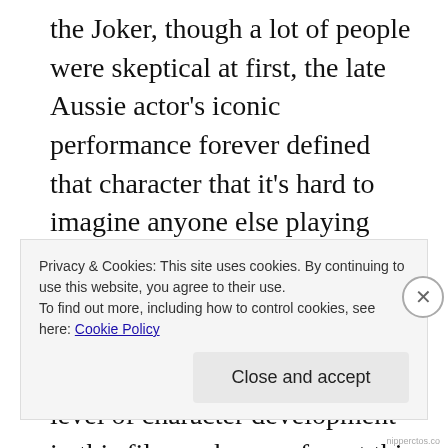the Joker, though a lot of people were skeptical at first, the late Aussie actor's iconic performance forever defined that character that it's hard to imagine anyone else playing that role (neither did Nolan as he said here he won't bring back the Joker character for Batman 3). The complex story and the level of character development in this film makes me forget this is a superhero film! Gone are the circus-y and frivolous-ness of the previous
Privacy & Cookies: This site uses cookies. By continuing to use this website, you agree to their use.
To find out more, including how to control cookies, see here: Cookie Policy
Close and accept